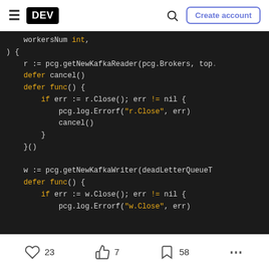DEV | Create account
[Figure (screenshot): Code block showing Go code with dark background. Code includes workersNum int, function body with pcg.getNewKafkaReader, defer cancel(), defer func() with if err := r.Close(); err != nil block containing pcg.log.Errorf("r.Close", err) and cancel(), then w := pcg.getNewKafkaWriter(deadLetterQueueT..., defer func() { if err := w.Close(); err != nil { pcg.log.Errorf("w.Close", err)]
23  7  58  ...